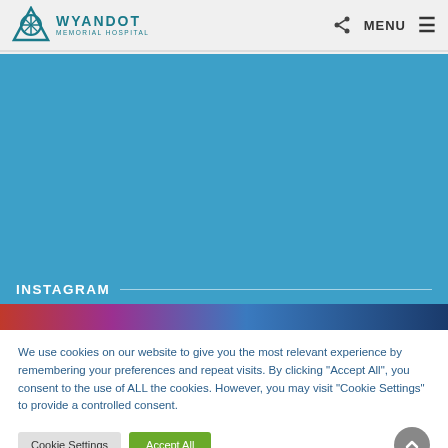WYANDOT MEMORIAL HOSPITAL — MENU
[Figure (photo): Blue banner/hero image area for Wyandot Memorial Hospital website]
INSTAGRAM
[Figure (photo): Partial Instagram image strip showing colorful graphic]
We use cookies on our website to give you the most relevant experience by remembering your preferences and repeat visits. By clicking "Accept All", you consent to the use of ALL the cookies. However, you may visit "Cookie Settings" to provide a controlled consent.